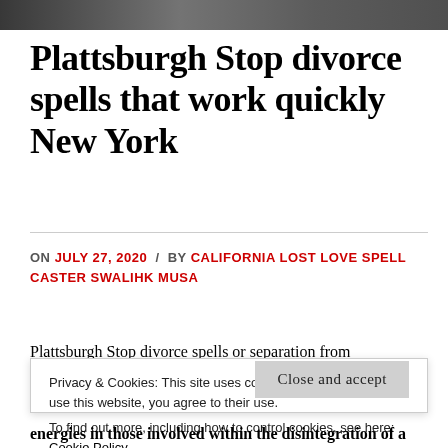[Figure (photo): Partial photo strip at top of page, dark/grayscale tones]
Plattsburgh Stop divorce spells that work quickly New York
ON JULY 27, 2020 / BY CALIFORNIA LOST LOVE SPELL CASTER SWALIHK MUSA
Plattsburgh Stop divorce spells or separation from
Privacy & Cookies: This site uses cookies. By continuing to use this website, you agree to their use. To find out more, including how to control cookies, see here: Cookie Policy
Close and accept
energies in those involved within the disintegration of a